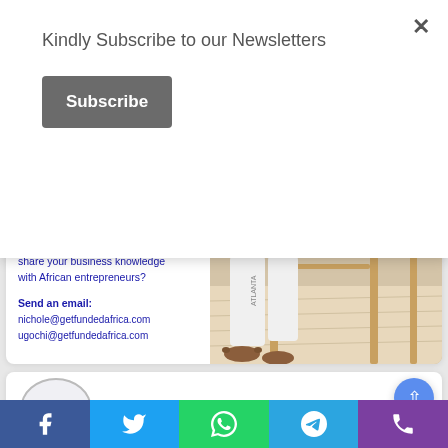Kindly Subscribe to our Newsletters
Subscribe
Or have developed a passion for writing and would want to share your business knowledge with African entrepreneurs?
Send an email:
nichole@getfundedafrica.com
ugochi@getfundedafrica.com
[Figure (photo): Photo of a person's lower body wearing white jogger pants with 'ATLANTA' text, standing barefoot near a glass table with wooden chairs on a light wood floor]
[Figure (logo): GEF logo circle - GetFundedAfrica logo partial view]